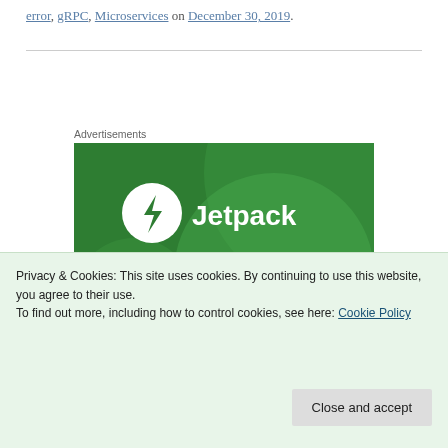error, gRPC, Microservices on December 30, 2019.
[Figure (logo): Jetpack advertisement banner with green background, white Jetpack logo and text]
Advertisements
Privacy & Cookies: This site uses cookies. By continuing to use this website, you agree to their use.
To find out more, including how to control cookies, see here: Cookie Policy
Close and accept